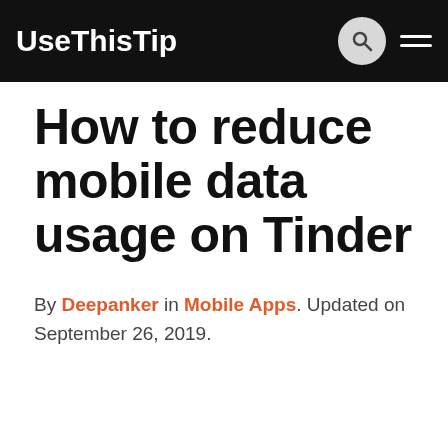UseThisTip
How to reduce mobile data usage on Tinder
By Deepanker in Mobile Apps. Updated on September 26, 2019.